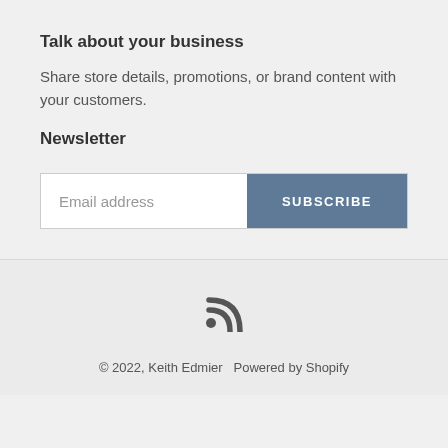Talk about your business
Share store details, promotions, or brand content with your customers.
Newsletter
Email address
SUBSCRIBE
[Figure (other): RSS feed icon]
© 2022, Keith Edmier  Powered by Shopify